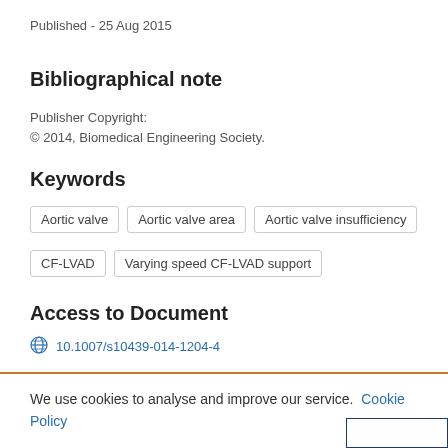Published - 25 Aug 2015
Bibliographical note
Publisher Copyright:
© 2014, Biomedical Engineering Society.
Keywords
Aortic valve
Aortic valve area
Aortic valve insufficiency
CF-LVAD
Varying speed CF-LVAD support
Access to Document
10.1007/s10439-014-1204-4
We use cookies to analyse and improve our service. Cookie Policy